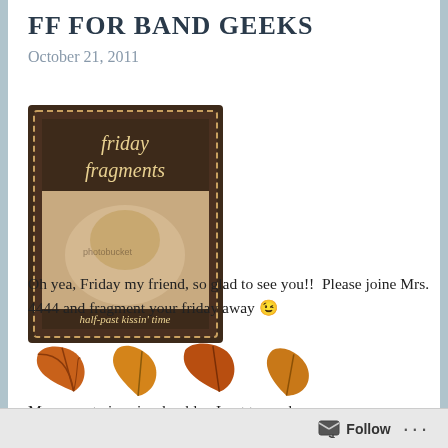FF for Band Geeks
October 21, 2011
[Figure (illustration): Friday Fragments badge/stamp image with brown scalloped border, text 'friday fragments' and 'half-past kissin' time' with an image of a sleeping baby]
Oh yea, Friday my friend, so glad to see you!!  Please joine Mrs. 4444 and fragment your friday away 😉
[Figure (illustration): Four autumn maple leaf clipart images in orange and brown]
My newest niece is adorable.  I got to see her
Follow ...